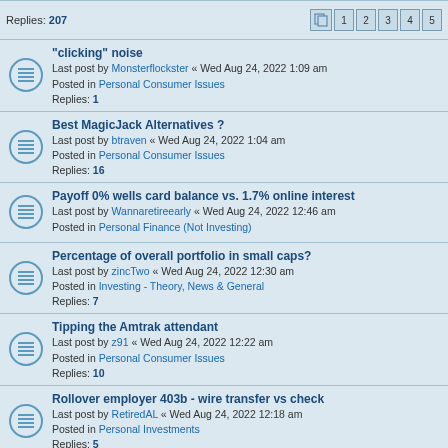Replies: 207 | Pages: 1 2 3 4 5
"clicking" noise
Last post by Monsterflockster « Wed Aug 24, 2022 1:09 am
Posted in Personal Consumer Issues
Replies: 1
Best MagicJack Alternatives ?
Last post by btraven « Wed Aug 24, 2022 1:04 am
Posted in Personal Consumer Issues
Replies: 16
Payoff 0% wells card balance vs. 1.7% online interest
Last post by Wannaretireearly « Wed Aug 24, 2022 12:46 am
Posted in Personal Finance (Not Investing)
Percentage of overall portfolio in small caps?
Last post by zincTwo « Wed Aug 24, 2022 12:30 am
Posted in Investing - Theory, News & General
Replies: 7
Tipping the Amtrak attendant
Last post by z91 « Wed Aug 24, 2022 12:22 am
Posted in Personal Consumer Issues
Replies: 10
Rollover employer 403b - wire transfer vs check
Last post by RetiredAL « Wed Aug 24, 2022 12:18 am
Posted in Personal Investments
Replies: 5
Retired . Buying dividend stocks vs growth. Wise?
Last post by Apathizer « Wed Aug 24, 2022 12:18 am
Posted in Investing - Theory, News & General
Replies: 14